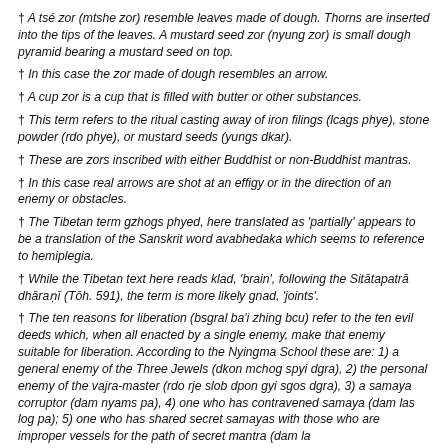† A tsé zor (mtshe zor) resemble leaves made of dough. Thorns are inserted into the tips of the leaves. A mustard seed zor (nyung zor) is small dough pyramid bearing a mustard seed on top.
† In this case the zor made of dough resembles an arrow.
† A cup zor is a cup that is filled with butter or other substances.
† This term refers to the ritual casting away of iron filings (lcags phye), stone powder (rdo phye), or mustard seeds (yungs dkar).
† These are zors inscribed with either Buddhist or non-Buddhist mantras.
† In this case real arrows are shot at an effigy or in the direction of an enemy or obstacles.
† The Tibetan term gzhogs phyed, here translated as 'partially' appears to be a translation of the Sanskrit word avabhedaka which seems to reference to hemiplegia.
† While the Tibetan text here reads klad, 'brain', following the Sitātapatrā dhāraṇī (Tōh. 591), the term is more likely gnad, 'joints'.
† The ten reasons for liberation (bsgral ba'i zhing bcu) refer to the ten evil deeds which, when all enacted by a single enemy, make that enemy suitable for liberation. According to the Nyingma School these are: 1) a general enemy of the Three Jewels (dkon mchog spyi dgra), 2) the personal enemy of the vajra-master (rdo rje slob dpon gyi sgos dgra), 3) a samaya corruptor (dam nyams pa), 4) one who has contravened samaya (dam las log pa); 5) one who has shared secret samayas with those who are improper vessels for the path of secret mantra (dam la